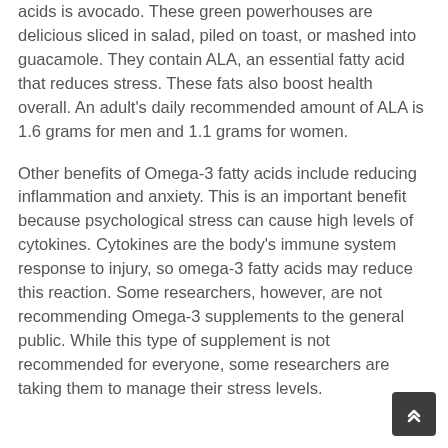acids is avocado. These green powerhouses are delicious sliced in salad, piled on toast, or mashed into guacamole. They contain ALA, an essential fatty acid that reduces stress. These fats also boost health overall. An adult's daily recommended amount of ALA is 1.6 grams for men and 1.1 grams for women.
Other benefits of Omega-3 fatty acids include reducing inflammation and anxiety. This is an important benefit because psychological stress can cause high levels of cytokines. Cytokines are the body's immune system response to injury, so omega-3 fatty acids may reduce this reaction. Some researchers, however, are not recommending Omega-3 supplements to the general public. While this type of supplement is not recommended for everyone, some researchers are taking them to manage their stress levels.